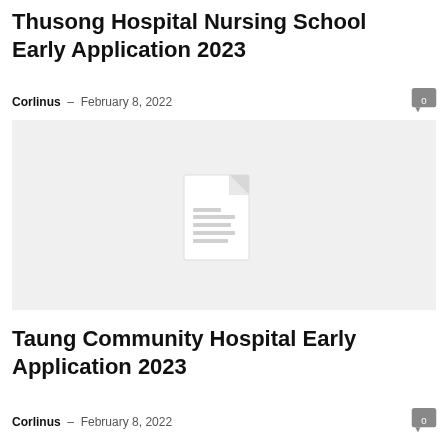Thusong Hospital Nursing School Early Application 2023
Corlinus - February 8, 2022
[Figure (illustration): Placeholder document icon on light gray background representing a generic document image]
Taung Community Hospital Early Application 2023
Corlinus - February 8, 2022